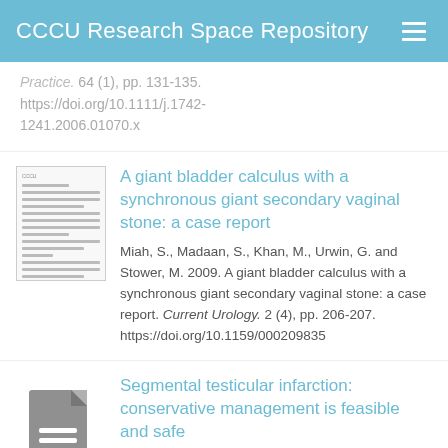CCCU Research Space Repository
Practice. 64 (1), pp. 131-135. https://doi.org/10.1111/j.1742-1241.2006.01070.x
A giant bladder calculus with a synchronous giant secondary vaginal stone: a case report
Miah, S., Madaan, S., Khan, M., Urwin, G. and Stower, M. 2009. A giant bladder calculus with a synchronous giant secondary vaginal stone: a case report. Current Urology. 2 (4), pp. 206-207. https://doi.org/10.1159/000209835
Segmental testicular infarction: conservative management is feasible and safe